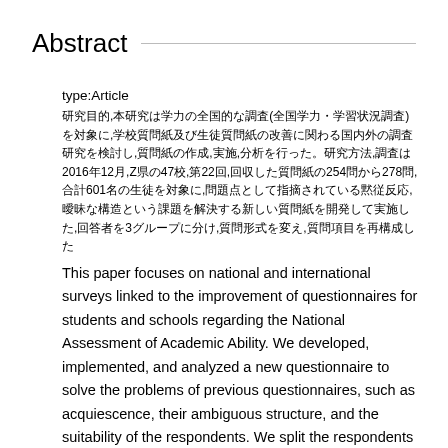Abstract
type:Article
研究目的,本研究は学力の全国的な調査(全国学力・学習状況調査)を対象に,学校質問紙及び生徒質問紙の改善に関わる国内外の調査研究を検討し,質問紙の作成,実施,分析を行った。研究方法,2016年12月,Z県の47校,第22回,回収した質問紙の254問から278問,合計601名の生徒を対象に,問題点として指摘されている黙従反応,曖昧な構造,回答者の適切さ,という課題を解決する新しい質問紙を開発して実施した,回答者を3グループに分け,質問形式を変え,質問項目を再構成した
This paper focuses on national and international surveys linked to the improvement of questionnaires for students and schools regarding the National Assessment of Academic Ability. We developed, implemented, and analyzed a new questionnaire to solve the problems of previous questionnaires, such as acquiescence, their ambiguous structure, and the suitability of the respondents. We split the respondents into three groups, changed the question formats and restructured the question items. In